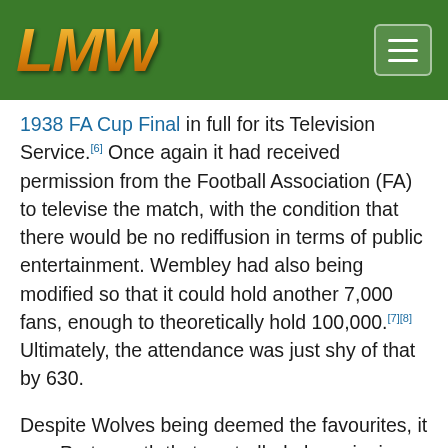[Figure (logo): LMW logo in gold/orange gradient italic text on dark green header bar, with a hamburger menu button on the right]
1938 FA Cup Final in full for its Television Service.[6] Once again it had received permission from the Football Association (FA) to televise the match, with the condition that there would be no rediffusion in terms of public entertainment. Wembley had also being modified so that it could hold another 7,000 fans, enough to theoretically hold 100,000.[7][8] Ultimately, the attendance was just shy of that by 630.
Despite Wolves being deemed the favourites, it was Portsmouth that controlled play, winning its first FA Cup with a 4–1 win. Herbert Barlow and John Anderson scored goals for the club in the first half. In the second, Henry Parker added two more, with the sole strike from Wolverhampton's Richard Dorsett